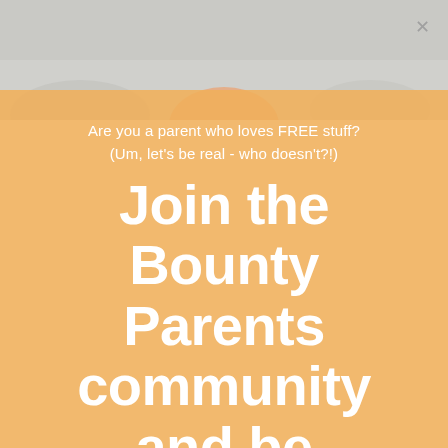[Figure (photo): Top portion of a photo showing a light grey/white background with a partial view of what appears to be a baby or pregnant belly, with an orange close button (×) in the top right corner.]
Are you a parent who loves FREE stuff? (Um, let's be real - who doesn't?!)
Join the Bounty Parents community and be rewarded!